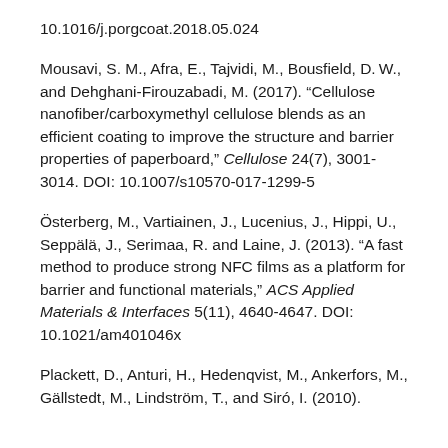10.1016/j.porgcoat.2018.05.024
Mousavi, S. M., Afra, E., Tajvidi, M., Bousfield, D. W., and Dehghani-Firouzabadi, M. (2017). “Cellulose nanofiber/carboxymethyl cellulose blends as an efficient coating to improve the structure and barrier properties of paperboard,” Cellulose 24(7), 3001-3014. DOI: 10.1007/s10570-017-1299-5
Österberg, M., Vartiainen, J., Lucenius, J., Hippi, U., Seppälä, J., Serimaa, R. and Laine, J. (2013). “A fast method to produce strong NFC films as a platform for barrier and functional materials,” ACS Applied Materials & Interfaces 5(11), 4640-4647. DOI: 10.1021/am401046x
Plackett, D., Anturi, H., Hedenqvist, M., Ankerfors, M., Gällstedt, M., Lindström, T., and Siró, I. (2010).